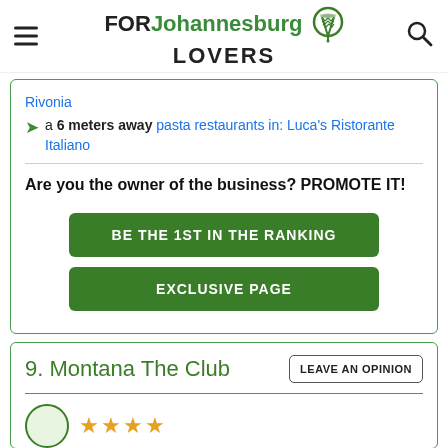FOR Johannesburg LOVERS
Rivonia
a 6 meters away pasta restaurants in: Luca's Ristorante Italiano
Are you the owner of the business? PROMOTE IT!
BE THE 1ST IN THE RANKING
EXCLUSIVE PAGE
9. Montana The Club
LEAVE AN OPINION